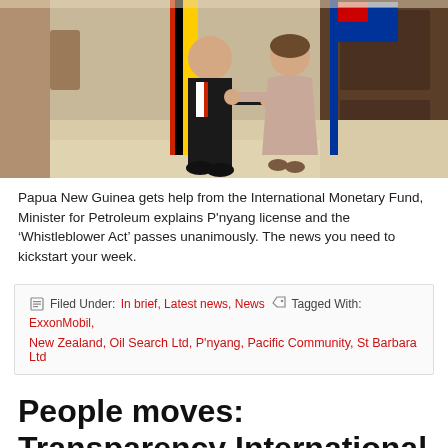[Figure (photo): Two people shaking hands indoors with flags in the background, one person in a dark suit, another in a pink/beige dress. Formal diplomatic-style photo.]
Papua New Guinea gets help from the International Monetary Fund, Minister for Petroleum explains P'nyang license and the 'Whistleblower Act' passes unanimously. The news you need to kickstart your week.
Filed Under: In brief, Latest news, News   Tagged With: ExxonMobil, New Zealand, Oil Search Ltd, P'nyang, Pacific Community, St Barbara Ltd
People moves: Transparency International Papua New Guinea, Pacific Community, National Capital District Governor